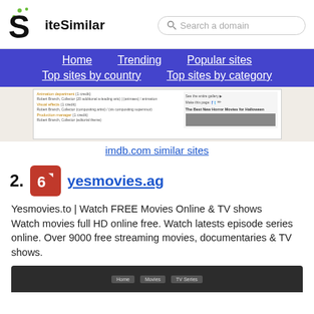[Figure (logo): SiteSimilar logo with stylized S and green dots]
Search a domain
Home   Trending   Popular sites   Top sites by country   Top sites by category
[Figure (screenshot): Screenshot of imdb.com website preview]
imdb.com similar sites
2. yesmovies.ag
Yesmovies.to | Watch FREE Movies Online & TV shows
Watch movies full HD online free. Watch latests episode series online. Over 9000 free streaming movies, documentaries & TV shows.
[Figure (screenshot): Screenshot of yesmovies.ag website with dark header showing Home, Movies, TV Series tabs]